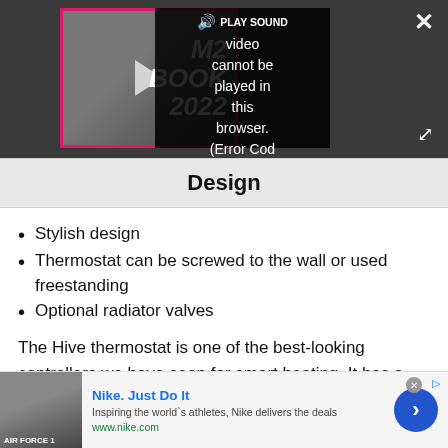[Figure (screenshot): Video player showing error message 'Video cannot be played in this browser. (Error Cod' with PLAY SOUND button and M2 BOOK 2022 text visible in background thumbnail. Dark gray player background with pink border on thumbnail. Close (X) and expand buttons visible.]
Design
Stylish design
Thermostat can be screwed to the wall or used freestanding
Optional radiator valves
The Hive thermostat is one of the best-looking controllers we have seen for smart heating. It has a physical dial in the centre of the device, which you can
[Figure (screenshot): Nike advertisement banner. Shows Nike shoe image on left, 'Nike. Just Do It' title in blue, description text 'Inspiring the world's athletes, Nike delivers the deals', URL 'www.nike.com' in green, and a blue circular arrow button on right. Close button and ad indicator visible.]